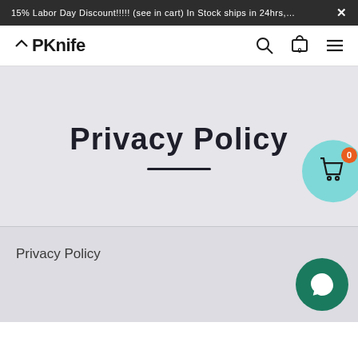15% Labor Day Discount!!!!! (see in cart) In Stock ships in 24hrs,... ×
[Figure (logo): UPKnife logo with navigation icons (search, cart, menu)]
Privacy Policy
[Figure (other): Floating teal shopping bag button with badge showing 0]
Privacy Policy
[Figure (other): Green chat bubble button]